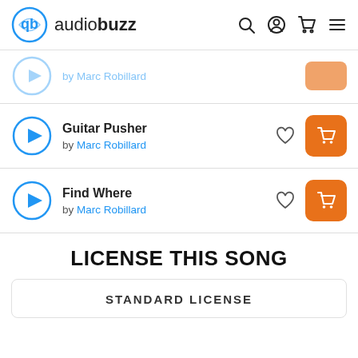audiobuzz
by Marc Robillard
Guitar Pusher by Marc Robillard
Find Where by Marc Robillard
LICENSE THIS SONG
STANDARD LICENSE